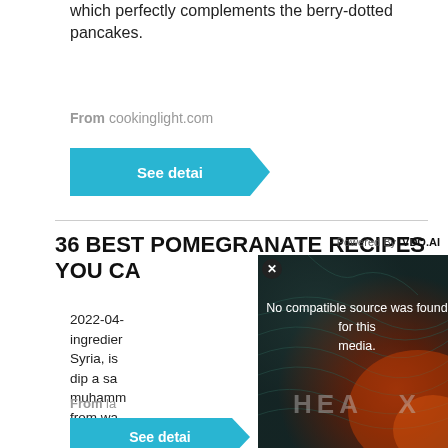which perfectly complements the berry-dotted pancakes.
From cookinglight.com
See detai
36 BEST POMEGRANATE RECIPES YOU CA
2022-04- ingredient Syria, is dip a sav muhammad from wal muhammad flavors.
From la
See detai
[Figure (screenshot): Video player overlay showing 'No compatible source was found for this media.' with dark gradient background, HEA X watermark text, close button, and Powered by VDO.AI label]